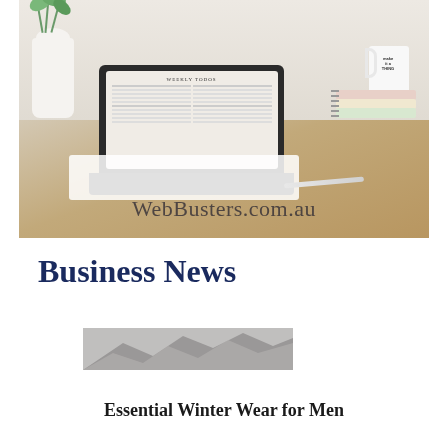[Figure (photo): A laptop open on a wooden desk showing a weekly planner document. A white ceramic mug, a stack of colorful notebooks, and a white pitcher with eucalyptus branches are also on the desk. The text 'WebBusters.com.au' is overlaid on the lower portion of the image.]
Business News
[Figure (photo): A partially visible thumbnail photo, appears to show mountain/nature scene in greyscale tones.]
Essential Winter Wear for Men